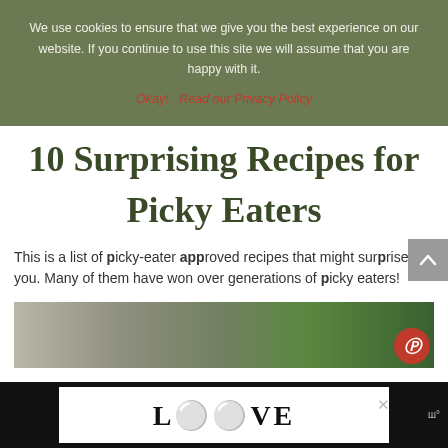We use cookies to ensure that we give you the best experience on our website. If you continue to use this site we will assume that you are happy with it.
Okay!   Read our Privacy Policy
10 Surprising Recipes for Picky Eaters
This is a list of picky-eater approved recipes that might surprise you. Many of them have won over generations of picky eaters!
[Figure (photo): Food photograph showing green herbs/plants, partially visible at bottom of page]
[Figure (logo): LOOVE advertisement banner with decorative black and white typographic logo on dark background]